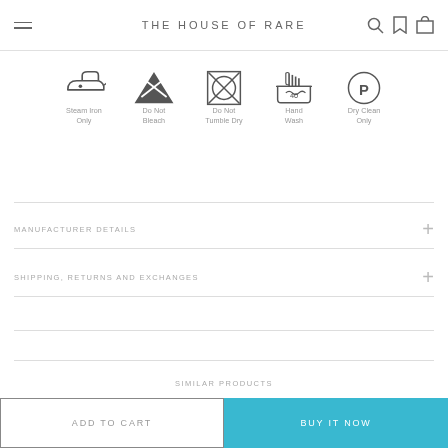THE HOUSE OF RARE
[Figure (infographic): Five laundry care symbols in a row: Steam Iron Only, Do Not Bleach, Do Not Tumble Dry, Hand Wash, Dry Clean Only]
MANUFACTURER DETAILS
SHIPPING, RETURNS AND EXCHANGES
SIMILAR PRODUCTS
ADD TO CART
BUY IT NOW